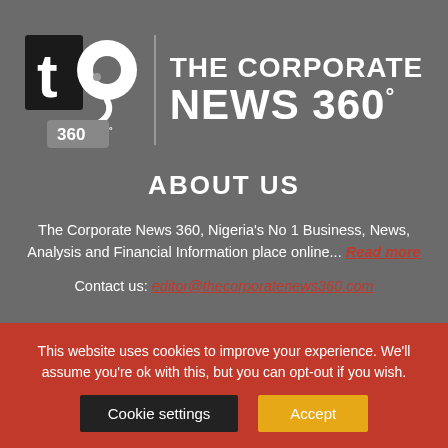[Figure (logo): The Corporate News 360 logo: stylized 'tcn' symbol on left with '360°' text below, vertical divider, then bold white text 'THE CORPORATE NEWS 360°' on right, all on grey background]
ABOUT US
The Corporate News 360, Nigeria's No 1 Business, News, Analysis and Financial Information place online... Read more
Contact us: editor@thecorporatenews360.com
This website uses cookies to improve your experience. We'll assume you're ok with this, but you can opt-out if you wish.